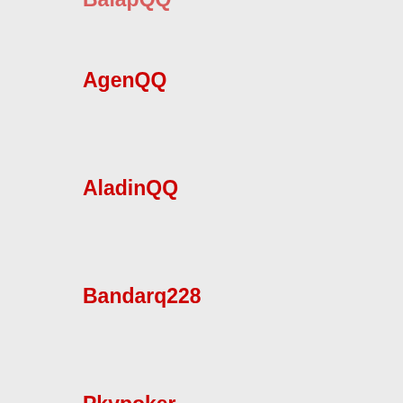BalapQQ
AgenQQ
AladinQQ
Bandarq228
Pkvpoker
Pokerqq13
MemoriQQ
TokeQQ
SboQQ
AyahQQ